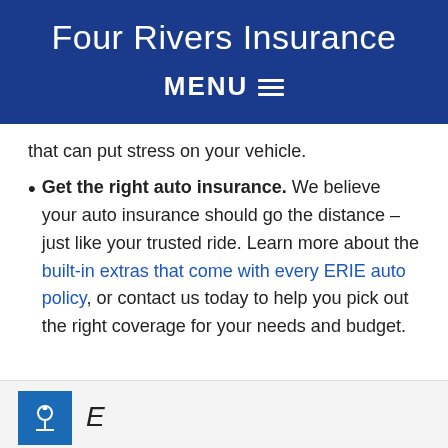Four Rivers Insurance
MENU ☰
that can put stress on your vehicle.
Get the right auto insurance. We believe your auto insurance should go the distance – just like your trusted ride. Learn more about the built-in extras that come with every ERIE auto policy, or contact us today to help you pick out the right coverage for your needs and budget.
[Figure (logo): Erie Insurance blue square logo with white building/lighthouse icon]